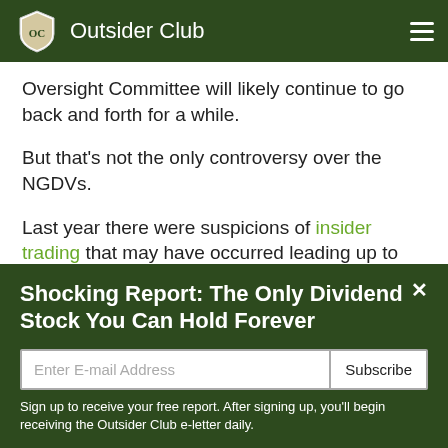Outsider Club
Oversight Committee will likely continue to go back and forth for a while.
But that's not the only controversy over the NGDVs.
Last year there were suspicions of insider trading that may have occurred leading up to the announcement that
Shocking Report: The Only Dividend Stock You Can Hold Forever
Enter E-mail Address
Subscribe
Sign up to receive your free report. After signing up, you'll begin receiving the Outsider Club e-letter daily.